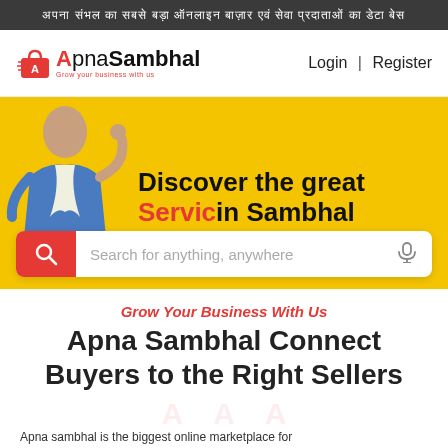अपना संभल का सबसे बड़ा ऑनलाइन बाज़ार
[Figure (logo): ApnaSambhal logo with shopping bag icon, orange A letter, and tagline 'Grow your business with us'. Navigation links Login and Register on right.]
[Figure (infographic): Yellow hero banner with a man making OK gesture. Text reads 'Discover the great Servicin Sambhal' with red 'Servic' and search bar below.]
Grow Your Business With Us
Apna Sambhal Connect Buyers to the Right Sellers
Apna sambhal is the biggest online marketplace for